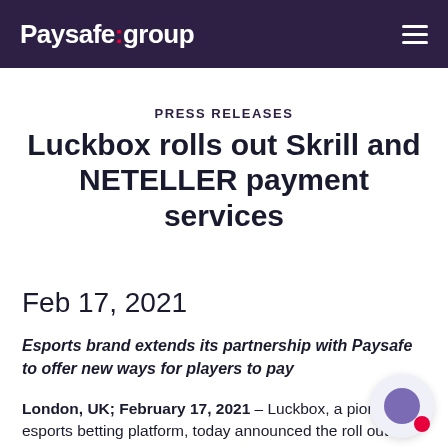Paysafe:group
PRESS RELEASES
Luckbox rolls out Skrill and NETELLER payment services
Feb 17, 2021
Esports brand extends its partnership with Paysafe to offer new ways for players to pay
London, UK; February 17, 2021 – Luckbox, a pioneering esports betting platform, today announced the roll out of